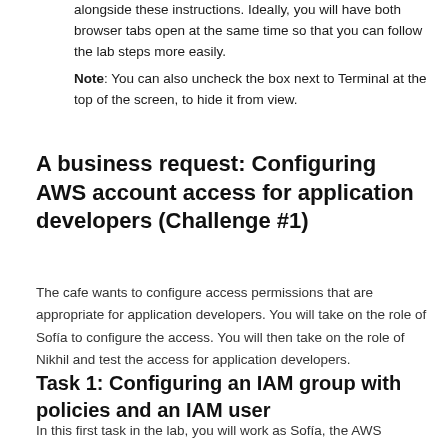4. Arrange the AWS Management Console tab so that it displays alongside these instructions. Ideally, you will have both browser tabs open at the same time so that you can follow the lab steps more easily.
Note: You can also uncheck the box next to Terminal at the top of the screen, to hide it from view.
A business request: Configuring AWS account access for application developers (Challenge #1)
The cafe wants to configure access permissions that are appropriate for application developers. You will take on the role of Sofía to configure the access. You will then take on the role of Nikhil and test the access for application developers.
Task 1: Configuring an IAM group with policies and an IAM user
In this first task in the lab, you will work as Sofía, the AWS account...